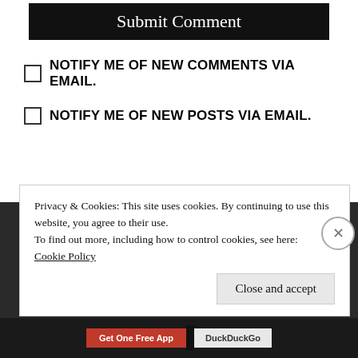Submit Comment
NOTIFY ME OF NEW COMMENTS VIA EMAIL.
NOTIFY ME OF NEW POSTS VIA EMAIL.
Privacy & Cookies: This site uses cookies. By continuing to use this website, you agree to their use.
To find out more, including how to control cookies, see here: Cookie Policy
Close and accept